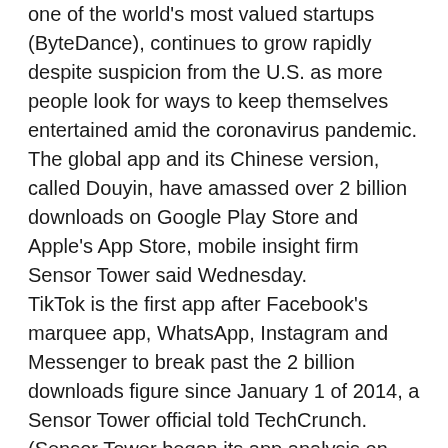one of the world's most valued startups (ByteDance), continues to grow rapidly despite suspicion from the U.S. as more people look for ways to keep themselves entertained amid the coronavirus pandemic. The global app and its Chinese version, called Douyin, have amassed over 2 billion downloads on Google Play Store and Apple's App Store, mobile insight firm Sensor Tower said Wednesday. TikTok is the first app after Facebook's marquee app, WhatsApp, Instagram and Messenger to break past the 2 billion downloads figure since January 1 of 2014, a Sensor Tower official told TechCrunch. (Sensor Tower began its app analysis on that date.) A number of apps from Google, the developer of Android, including Gmail and YouTube, have amassed over 5 billion downloads, but they ship pre-installed on most Android smartphones and tables. TikTok's 2 billion download milestone, a key metric to assess an app's growth, comes five months after it surpassed 1.5